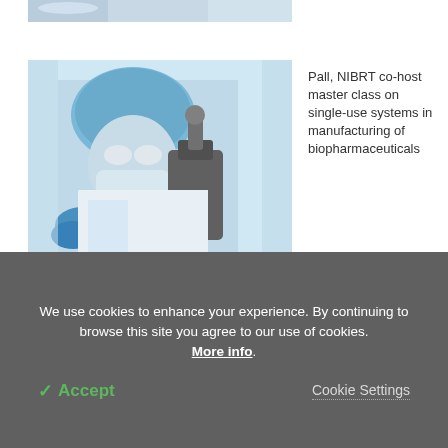[Figure (photo): Partial view of a lab photo at top of page, partially cropped]
[Figure (photo): Scientist in blue hairnet, mask, and gloves working with a microscope in a laboratory]
Pall, NIBRT co-host master class on single-use systems in manufacturing of biopharmaceuticals
Pall's GeneDisc System helps German authorities screen for deadly E.coli strain
Pall collaborates with NIBRT f...
We use cookies to enhance your experience. By continuing to browse this site you agree to our use of cookies. More info.
✓ Accept
Cookie Settings